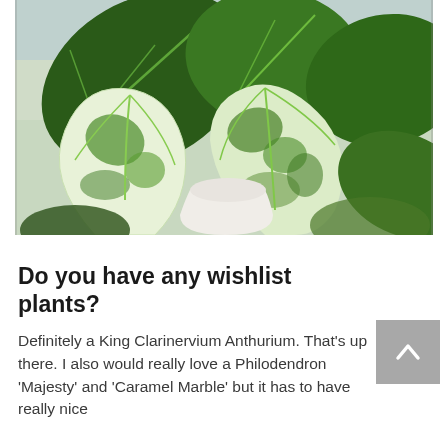[Figure (photo): A close-up photograph of variegated tropical houseplants, showing large leaves with green and white/cream mottled patterns, including what appears to be a Philodendron or Alocasia with striking variegation, in a white pot near a window.]
Do you have any wishlist plants?
Definitely a King Clarinervium Anthurium. That's up there. I also would really love a Philodendron 'Majesty' and 'Caramel Marble' but it has to have really nice